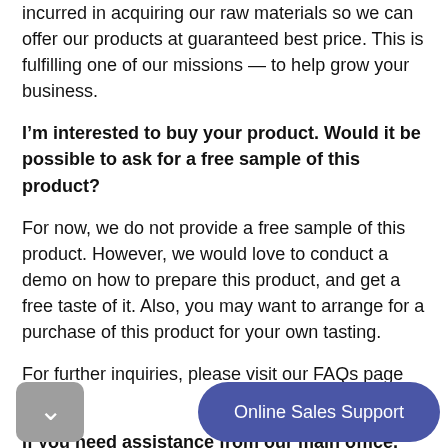incurred in acquiring our raw materials so we can offer our products at guaranteed best price. This is fulfilling one of our missions — to help grow your business.
I’m interested to buy your product. Would it be possible to ask for a free sample of this product?
For now, we do not provide a free sample of this product. However, we would love to conduct a demo on how to prepare this product, and get a free taste of it. Also, you may want to arrange for a purchase of this product for your own tasting.
For further inquiries, please visit our FAQs page here.
If you need assistance from our main office, please do not hesitate to call us at +639155251894 or email us directly at sales@milkteasupplier.ph. We will make your inquires our priori